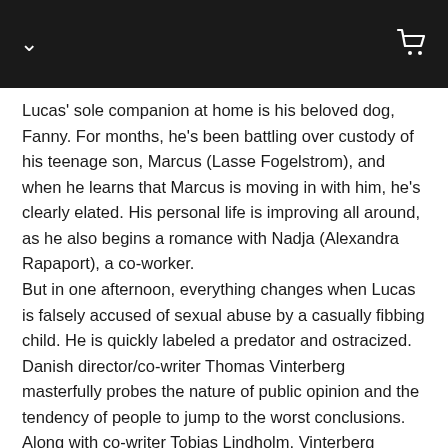Lucas' sole companion at home is his beloved dog, Fanny. For months, he's been battling over custody of his teenage son, Marcus (Lasse Fogelstrom), and when he learns that Marcus is moving in with him, he's clearly elated. His personal life is improving all around, as he also begins a romance with Nadja (Alexandra Rapaport), a co-worker.
But in one afternoon, everything changes when Lucas is falsely accused of sexual abuse by a casually fibbing child. He is quickly labeled a predator and ostracized.
Danish director/co-writer Thomas Vinterberg masterfully probes the nature of public opinion and the tendency of people to jump to the worst conclusions. Along with co-writer Tobias Lindholm, Vinterberg artfully explores how a lie can mushroom and become construed as fact amid gossip, innuendo and